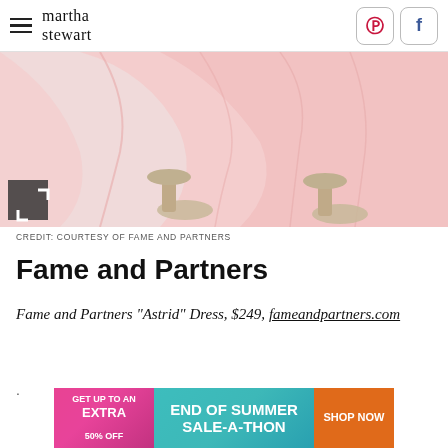martha stewart
[Figure (photo): Lower half of a pink flowing dress with silver heeled sandals, shown against a light background. Expand icon in lower-left corner.]
CREDIT: COURTESY OF FAME AND PARTNERS
Fame and Partners
Fame and Partners "Astrid" Dress, $249, fameandpartners.com
[Figure (other): Advertisement banner: GET UP TO AN EXTRA 50% OFF | END OF SUMMER SALE-A-THON | SHOP NOW]